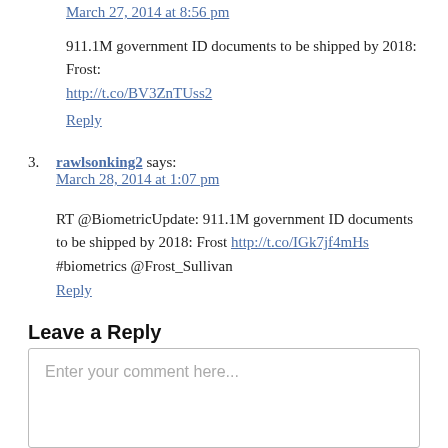March 27, 2014 at 8:56 pm
911.1M government ID documents to be shipped by 2018: Frost:
http://t.co/BV3ZnTUss2
Reply
3. rawlsonking2 says: March 28, 2014 at 1:07 pm
RT @BiometricUpdate: 911.1M government ID documents to be shipped by 2018: Frost http://t.co/IGk7jf4mHs #biometrics @Frost_Sullivan
Reply
Leave a Reply
Enter your comment here...
This site uses Akismet to reduce spam. Learn how your comment data is processed.